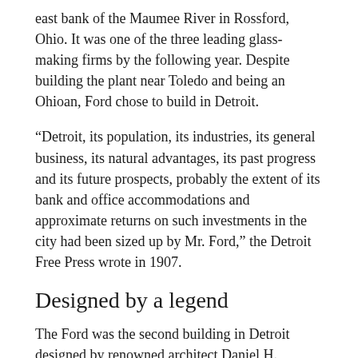east bank of the Maumee River in Rossford, Ohio. It was one of the three leading glass-making firms by the following year. Despite building the plant near Toledo and being an Ohioan, Ford chose to build in Detroit.
“Detroit, its population, its industries, its general business, its natural advantages, its past progress and its future prospects, probably the extent of its bank and office accommodations and approximate returns on such investments in the city had been sized up by Mr. Ford,” the Detroit Free Press wrote in 1907.
Designed by a legend
The Ford was the second building in Detroit designed by renowned architect Daniel H. Burnham, his first being the Majestic Building of 1896. Burnham is perhaps best known for his Flatiron Building in New York City and for being the director of works for the 1893 Chicago World’s Fair. Besides being a notable architect, Burnham is one of the earliest modern city planners and responsible for the Chicago Plan of